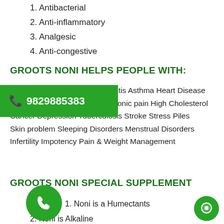1. Antibacterial
2. Anti-inflammatory
3. Analgesic
4. Anti-congestive
GROOTS NONI HELPS PEOPLE WITH:
Arthritis Asthma Heart Disease Chronic pain High Cholesterol Cancer Depression Tuberculosis Stroke Stress Piles Skin problem Sleeping Disorders Menstrual Disorders Infertility Impotency Pain & Weight Management
GROOTS NONI SPECIAL SUPPLEMENT
1. Noni is a Humectants
2. Noni is Alkaline